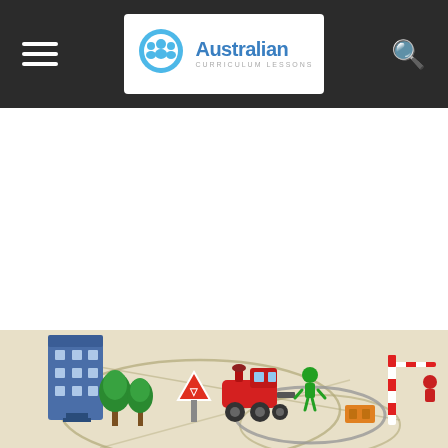Australian Curriculum Lessons
[Figure (photo): Toy train set with colorful wooden train, road signs, miniature trees and buildings on a hand-drawn map/track layout]